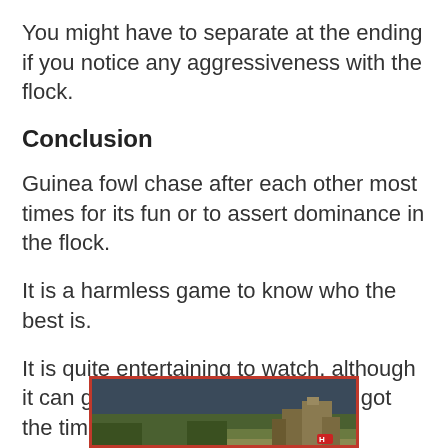You might have to separate at the ending if you notice any aggressiveness with the flock.
Conclusion
Guinea fowl chase after each other most times for its fun or to assert dominance in the flock.
It is a harmless game to know who the best is.
It is quite entertaining to watch, although it can go on for hours. So if you’ve got the time, pick a chair and a watch.
[Figure (photo): Advertisement banner showing a landscape with buildings under a dark sky, with playback and close controls in the top right corner.]